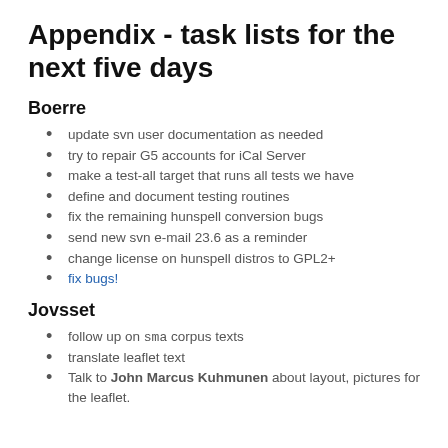Appendix - task lists for the next five days
Boerre
update svn user documentation as needed
try to repair G5 accounts for iCal Server
make a test-all target that runs all tests we have
define and document testing routines
fix the remaining hunspell conversion bugs
send new svn e-mail 23.6 as a reminder
change license on hunspell distros to GPL2+
fix bugs!
Jovsset
follow up on sma corpus texts
translate leaflet text
Talk to John Marcus Kuhmunen about layout, pictures for the leaflet.